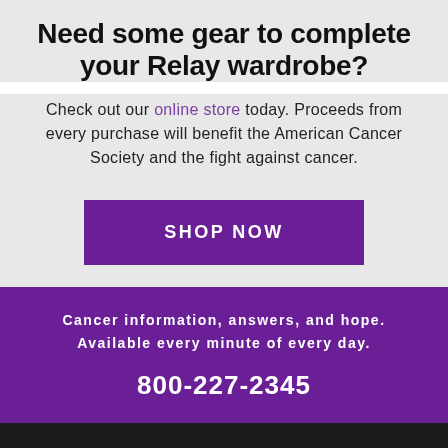Need some gear to complete your Relay wardrobe?
Check out our online store today. Proceeds from every purchase will benefit the American Cancer Society and the fight against cancer.
SHOP NOW
Cancer information, answers, and hope. Available every minute of every day.
800-227-2345
FOLLOW US